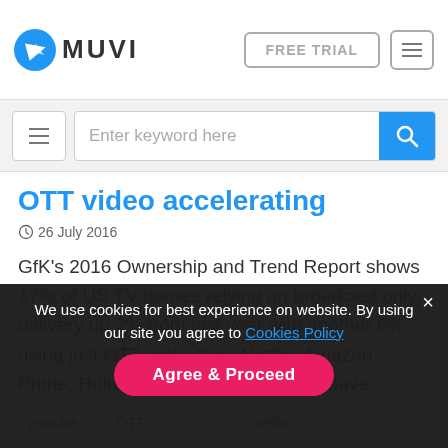[Figure (logo): Muvi logo with blue arrow icon and MUVI text]
FREE TRIAL  ☰
[Figure (screenshot): Search bar with hamburger menu and keyword search input with blue search button]
OTT video accelerating
⊙ 26 July 2016
GfK's 2016 Ownership and Trend Report shows 17% of US TV homes relying on broadcast only delivery up 2% from last year with another 6% using just OTT video from Netflix, Amazon Prime, Hulu, or YouTube who do not have traditional broadcast or pay TV reception at all. This was also up from 4% a ...
We use cookies for best experience on website. By using our site you agree to Cookies Policy
youtube  OTT  netflix